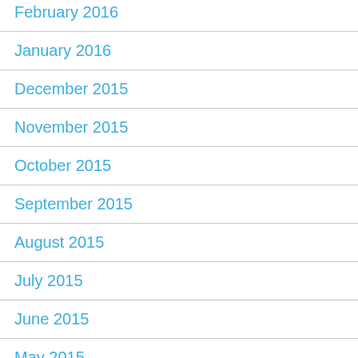February 2016
January 2016
December 2015
November 2015
October 2015
September 2015
August 2015
July 2015
June 2015
May 2015
April 2015